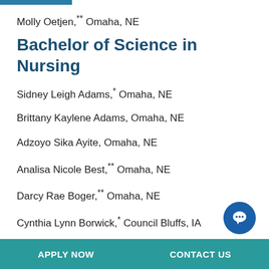Molly Oetjen,** Omaha, NE
Bachelor of Science in Nursing
Sidney Leigh Adams,* Omaha, NE
Brittany Kaylene Adams, Omaha, NE
Adzoyo Sika Ayite, Omaha, NE
Analisa Nicole Best,** Omaha, NE
Darcy Rae Boger,** Omaha, NE
Cynthia Lynn Borwick,* Council Bluffs, IA
Rebecca Ray Branstiter, Omaha, NE
APPLY NOW    CONTACT US